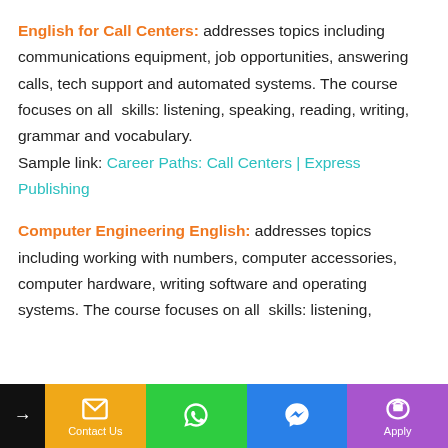English for Call Centers: addresses topics including communications equipment, job opportunities, answering calls, tech support and automated systems. The course focuses on all skills: listening, speaking, reading, writing, grammar and vocabulary. Sample link: Career Paths: Call Centers | Express Publishing
Computer Engineering English: addresses topics including working with numbers, computer accessories, computer hardware, writing software and operating systems. The course focuses on all skills: listening,
Contact Us | Apply